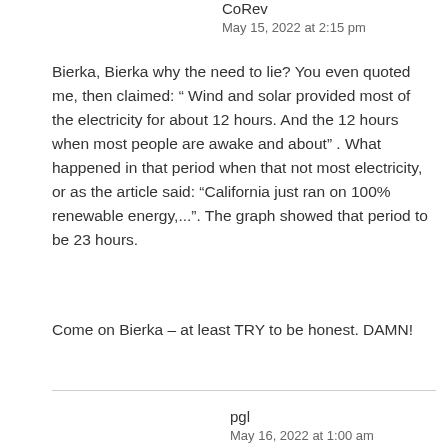CoRev
May 15, 2022 at 2:15 pm
Bierka, Bierka why the need to lie? You even quoted me, then claimed: “ Wind and solar provided most of the electricity for about 12 hours. And the 12 hours when most people are awake and about” . What happened in that period when that not most electricity, or as the article said: “California just ran on 100% renewable energy,...”. The graph showed that period to be 23 hours.
Come on Bierka – at least TRY to be honest. DAMN!
pgl
May 16, 2022 at 1:00 am